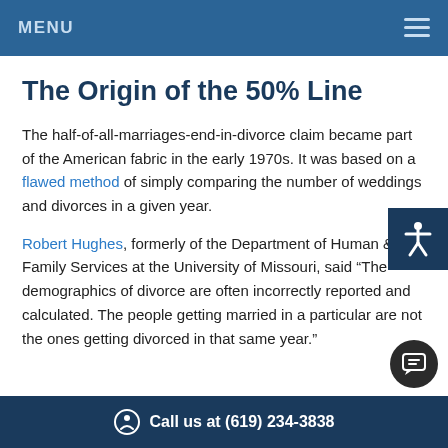MENU
The Origin of the 50% Line
The half-of-all-marriages-end-in-divorce claim became part of the American fabric in the early 1970s. It was based on a flawed method of simply comparing the number of weddings and divorces in a given year.
Robert Hughes, formerly of the Department of Human & Family Services at the University of Missouri, said “The demographics of divorce are often incorrectly reported and calculated. The people getting married in a particular are not the ones getting divorced in that same year.”
Call us at (619) 234-3838